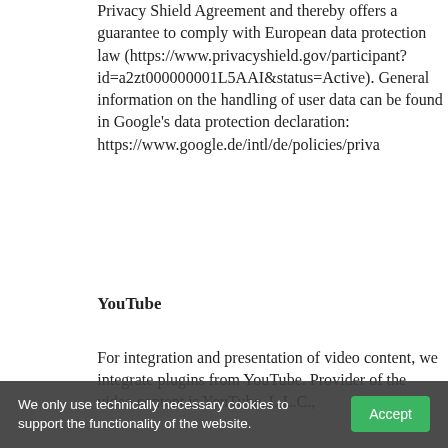Google is certified under the Privacy Shield Agreement and thereby offers a guarantee to comply with European data protection law (https://www.privacyshield.gov/participant?id=a2zt000000001L5AAI&status=Active). General information on the handling of user data can be found in Google's data protection declaration: https://www.google.de/intl/de/policies/privacy
YouTube
For integration and presentation of video content, we integrate plugins from YouTube. Provider of the video content is YouTube, L.L.C.,
We only use technically necessary cookies to support the functionality of the website.